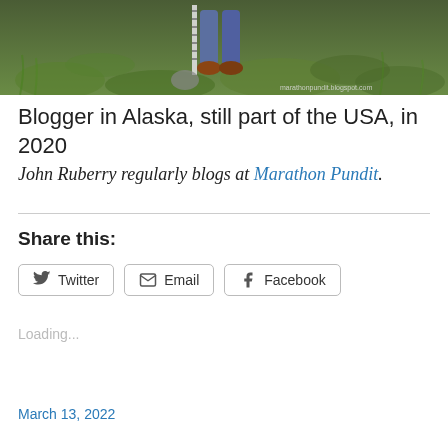[Figure (photo): Photo of a person standing on grass in Alaska in 2020, with a ruler/stake visible. Watermark reads marathonpundit.blogspot.com]
Blogger in Alaska, still part of the USA, in 2020
John Ruberry regularly blogs at Marathon Pundit.
Share this:
Twitter  Email  Facebook
Loading...
March 13, 2022